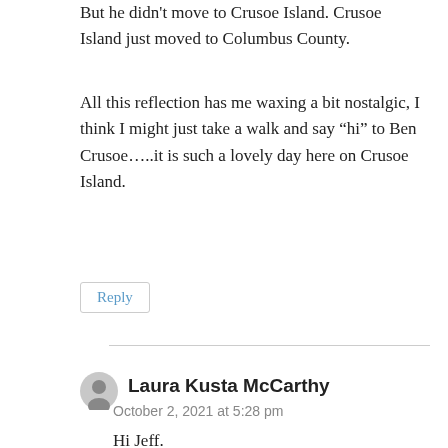But he didn't move to Crusoe Island. Crusoe Island just moved to Columbus County.
All this reflection has me waxing a bit nostalgic, I think I might just take a walk and say “hi” to Ben Crusoe…..it is such a lovely day here on Crusoe Island.
Reply
Laura Kusta McCarthy
October 2, 2021 at 5:28 pm
Hi Jeff.
I’m trying to do family research and would appreciate your help. I’ve done Ancestry DNA